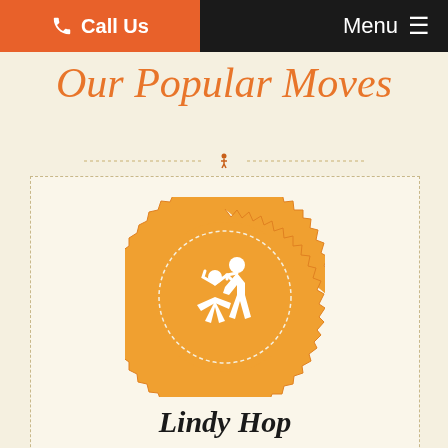Call Us   Menu
Our Popular Moves
[Figure (illustration): Orange serrated seal/badge with white silhouette of a dancing couple (Lindy Hop dance), with a dashed circle border inside]
Lindy Hop
The Lindy Hop is also referred to as the